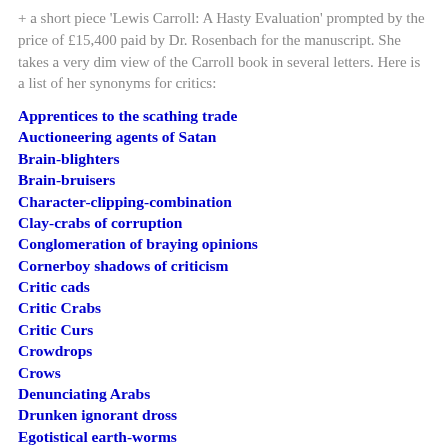+ a short piece 'Lewis Carroll: A Hasty Evaluation' prompted by the price of £15,400 paid by Dr. Rosenbach for the manuscript. She takes a very dim view of the Carroll book in several letters. Here is a list of her synonyms for critics:
Apprentices to the scathing trade
Auctioneering agents of Satan
Brain-blighters
Brain-bruisers
Character-clipping-combination
Clay-crabs of corruption
Conglomeration of braying opinions
Cornerboy shadows of criticism
Critic cads
Critic Crabs
Critic Curs
Crowdrops
Crows
Denunciating Arabs
Drunken ignorant dross
Egotistical earth-worms
Egotistic atoms